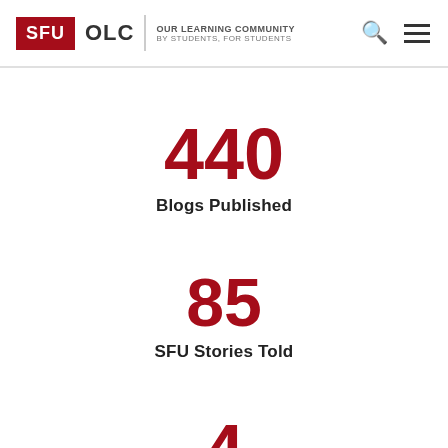SFU OLC | OUR LEARNING COMMUNITY BY STUDENTS, FOR STUDENTS
440
Blogs Published
85
SFU Stories Told
4